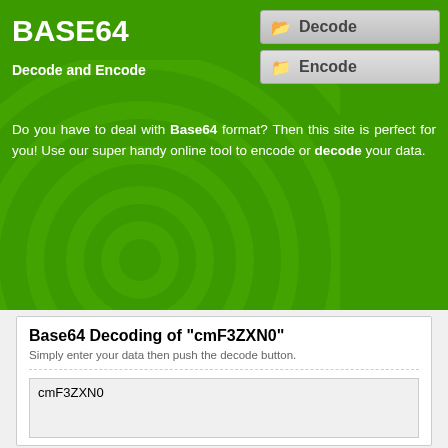BASE64
Decode and Encode
[Figure (other): Navigation button: Decode (active/highlighted)]
[Figure (other): Navigation button: Encode]
Do you have to deal with Base64 format? Then this site is perfect for you! Use our super handy online tool to encode or decode your data.
Base64 Decoding of "cmF3ZXN0"
Simply enter your data then push the decode button.
cmF3ZXN0